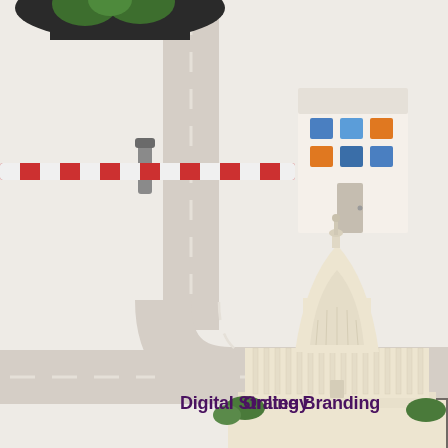[Figure (infographic): A digital marketing infographic showing an illustrated cityscape/roadway scene with a winding road, a building with colorful windows, a 'Welcome to Your Website' sign in retro style, social media icons on the right sidebar (LinkedIn, Facebook, Twitter, Google+, Pinterest, Instagram), trees, a Capitol building at the bottom center, and text labels 'Digital Strategy' and 'Online Branding'.]
Digital Strategy
Online Branding
Welcome
TO YOUR WEBSITE